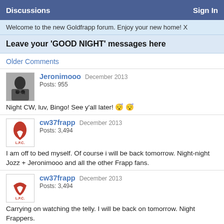Discussions   Sign In
Welcome to the new Goldfrapp forum. Enjoy your new home! X
Leave your 'GOOD NIGHT' messages here
Older Comments
Jeronimooo   December 2013
Posts: 955
Night CW, luv, Bingo! See y'all later! 😴 😴
cw37frapp   December 2013
Posts: 3,494
I am off to bed myself. Of course i will be back tomorrow. Night-night Jozz + Jeronimooo and all the other Frapp fans.
cw37frapp   December 2013
Posts: 3,494
Carrying on watching the telly. I will be back on tomorrow. Night Frappers.